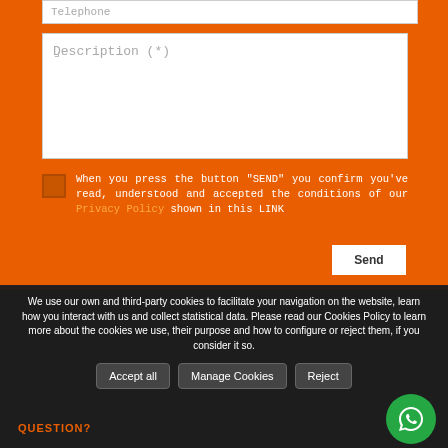Telephone (placeholder input field)
Description (*)
When you press the button "SEND" you confirm you've read, understood and accepted the conditions of our Privacy Policy shown in this LINK
Send
We use our own and third-party cookies to facilitate your navigation on the website, learn how you interact with us and collect statistical data. Please read our Cookies Policy to learn more about the cookies we use, their purpose and how to configure or reject them, if you consider it so.
Accept all
Manage Cookies
Reject
QUESTION?